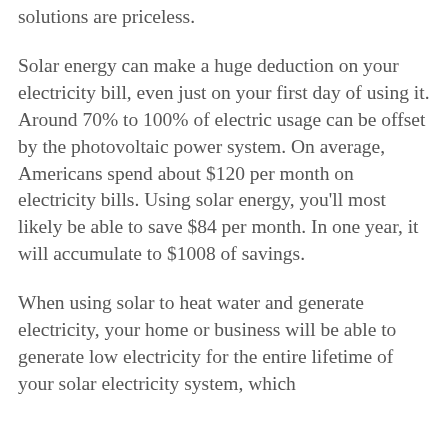solutions are priceless.
Solar energy can make a huge deduction on your electricity bill, even just on your first day of using it. Around 70% to 100% of electric usage can be offset by the photovoltaic power system. On average, Americans spend about $120 per month on electricity bills. Using solar energy, you'll most likely be able to save $84 per month. In one year, it will accumulate to $1008 of savings.
When using solar to heat water and generate electricity, your home or business will be able to generate low electricity for the entire lifetime of your solar electricity system, which